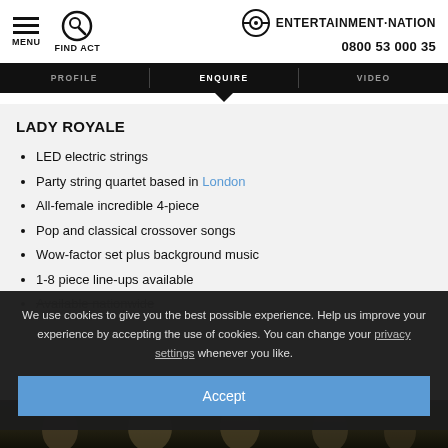MENU | FIND ACT | ENTERTAINMENT·NATION | 0800 53 000 35
PROFILE | ENQUIRE | VIDEO
LADY ROYALE
LED electric strings
Party string quartet based in London
All-female incredible 4-piece
Pop and classical crossover songs
Wow-factor set plus background music
1-8 piece line-ups available
Available nationwide
We use cookies to give you the best possible experience. Help us improve your experience by accepting the use of cookies. You can change your privacy settings whenever you like.
Accept
[Figure (photo): Dark photo strip at bottom showing performers on stage]